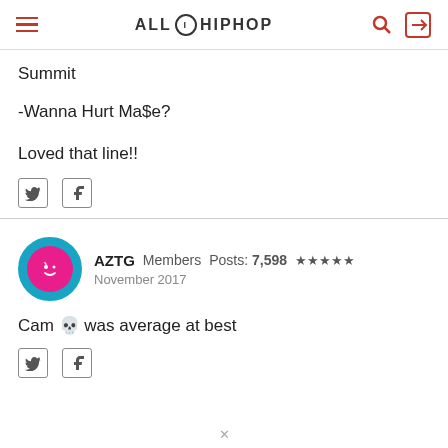AllHipHop
Summit
-Wanna Hurt Ma$e?
Loved that line!!
AZTG  Members  Posts: 7,598  ★★★★★  November 2017
Cam 💀 was average at best